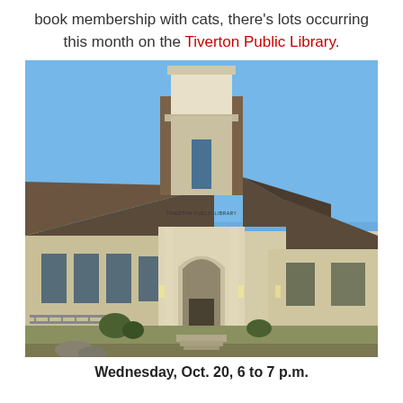book membership with cats, there's lots occurring this month on the Tiverton Public Library.
[Figure (photo): Exterior photograph of the Tiverton Public Library building, a light-colored shingle-style building with a prominent steep central tower topped with a square cupola, arched entryway with timber framing, and large windows, set against a clear blue sky.]
Wednesday, Oct. 20, 6 to 7 p.m.